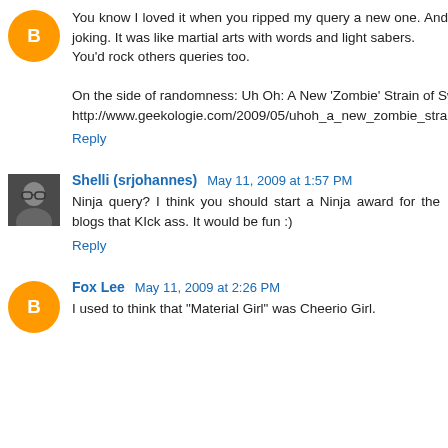You know I loved it when you ripped my query a new one. And I'm not even joking. It was like martial arts with words and light sabers.
You'd rock others queries too.

On the side of randomness: Uh Oh: A New 'Zombie' Strain of Swine Flu
http://www.geekologie.com/2009/05/uhoh_a_new_zombie_strain_of_sw.php
Reply
Shelli (srjohannes) May 11, 2009 at 1:57 PM
Ninja query? I think you should start a Ninja award for the blogs that KIck ass. It would be fun :)
Reply
Fox Lee May 11, 2009 at 2:26 PM
I used to think that "Material Girl" was Cheerio Girl.